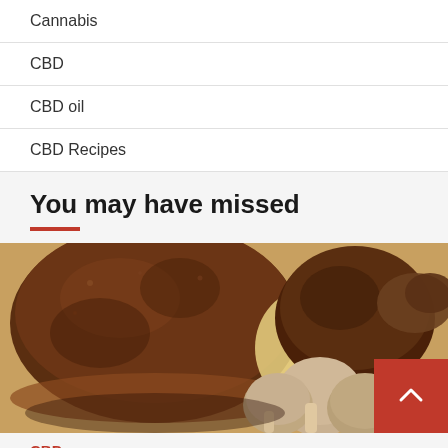Cannabis
CBD
CBD oil
CBD Recipes
You may have missed
[Figure (photo): Close-up photograph of various mushrooms including large portobello and small button mushrooms arranged together.]
CBD